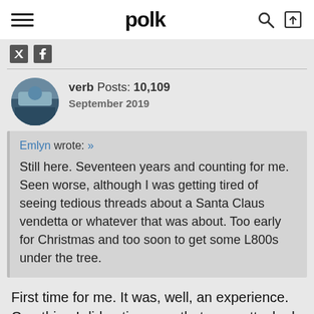polk
verb  Posts: 10,109  September 2019
Emlyn wrote: » Still here. Seventeen years and counting for me. Seen worse, although I was getting tired of seeing tedious threads about a Santa Claus vendetta or whatever that was about. Too early for Christmas and too soon to get some L800s under the tree.
First time for me. It was, well, an experience. One thing I did notice, was that once attacked, we all banded together, worked as a team, communicated, consoled